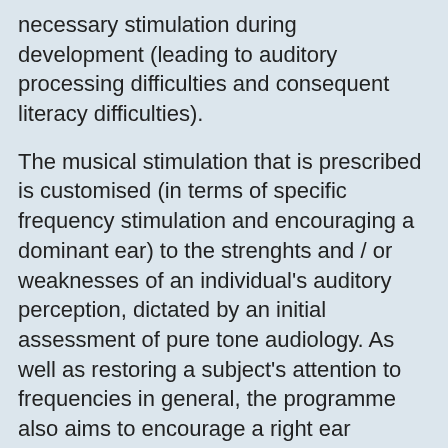necessary stimulation during development (leading to auditory processing difficulties and consequent literacy difficulties).
The musical stimulation that is prescribed is customised (in terms of specific frequency stimulation and encouraging a dominant ear) to the strenghts and / or weaknesses of an individual's auditory perception, dictated by an initial assessment of pure tone audiology. As well as restoring a subject's attention to frequencies in general, the programme also aims to encourage a right ear advantage, as already has been mentioned in relation to optimum processing of auditory information.
The current study aims to provide evidence that the principles used by Johansen-IAS succesfully optimise auditory perception, and create a right ear advantage in dylexics whose develoment may have been delayed or